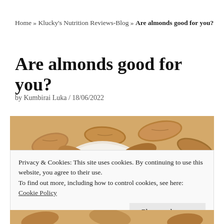Home » Klucky's Nutrition Reviews‑Blog » Are almonds good for you?
Are almonds good for you?
by Kumbirai Luka / 18/06/2022
[Figure (photo): Close-up photo of almonds in a bowl]
Privacy & Cookies: This site uses cookies. By continuing to use this website, you agree to their use.
To find out more, including how to control cookies, see here:
Cookie Policy
Close and accept
[Figure (photo): Bottom strip of almond photo]